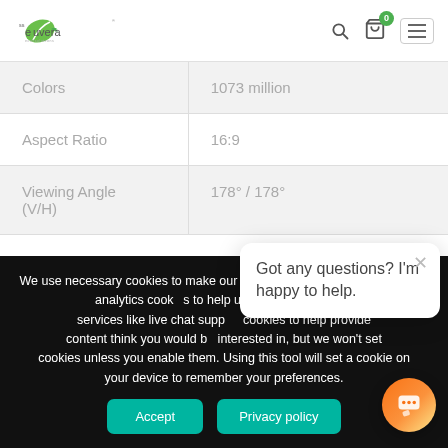ecouvera logo with navigation icons (search, cart, menu)
| Property | Value |
| --- | --- |
| Colors | 1073 million |
| Aspect Ratio | 16:9 |
| Viewing Angle (V/H) | 178° / 178° |
We use necessary cookies to make our site work. We'd like to set optional analytics cookies to help us improve it, and set services like live chat support cookies to help provide content think you would be interested in, but we won't set cookies unless you enable them. Using this tool will set a cookie on your device to remember your preferences.
Got any questions? I'm happy to help.